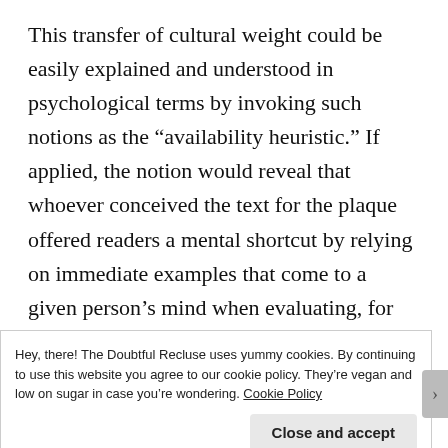This transfer of cultural weight could be easily explained and understood in psychological terms by invoking such notions as the “availability heuristic.” If applied, the notion would reveal that whoever conceived the text for the plaque offered readers a mental shortcut by relying on immediate examples that come to a given person’s mind when evaluating, for instance, the death toll of the General Slocum Disaster. Yet, such an approach is limiting, to say the least. It reveals
Hey, there! The Doubtful Recluse uses yummy cookies. By continuing to use this website you agree to our cookie policy. They’re vegan and low on sugar in case you’re wondering. Cookie Policy